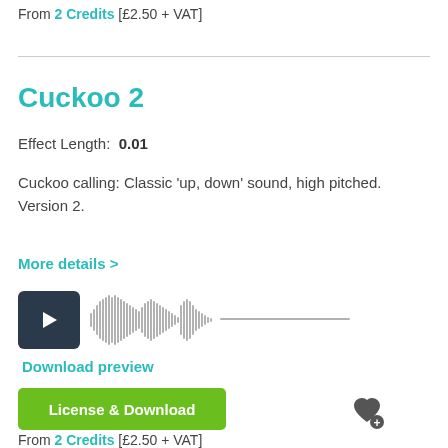From 2 Credits [£2.50 + VAT]
Cuckoo 2
Effect Length:  0.01
Cuckoo calling: Classic 'up, down' sound, high pitched. Version 2.
More details >
[Figure (other): Audio player with play button and waveform visualization]
Download preview
License & Download
From 2 Credits [£2.50 + VAT]